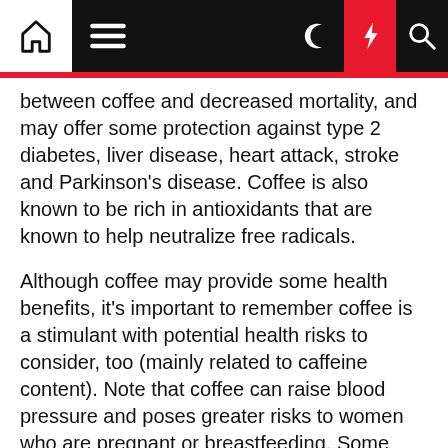Navigation bar with home, menu, moon, lightning, and search icons
between coffee and decreased mortality, and may offer some protection against type 2 diabetes, liver disease, heart attack, stroke and Parkinson's disease. Coffee is also known to be rich in antioxidants that are known to help neutralize free radicals.
Although coffee may provide some health benefits, it's important to remember coffee is a stimulant with potential health risks to consider, too (mainly related to caffeine content). Note that coffee can raise blood pressure and poses greater risks to women who are pregnant or breastfeeding. Some individuals are also more prone to experience certain side effects such as insomnia, heartburn and increased anxiety.
Coffee intake carries both pros and cons when it comes to health, but sticking to a reasonable